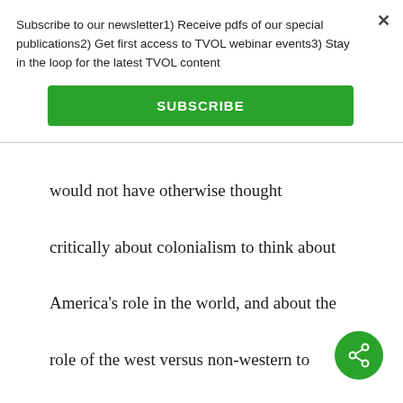Subscribe to our newsletter1) Receive pdfs of our special publications2) Get first access to TVOL webinar events3) Stay in the loop for the latest TVOL content
SUBSCRIBE
would not have otherwise thought critically about colonialism to think about America’s role in the world, and about the role of the west versus non-western to become politically active and critical. Opponents of the Vietnam war resuscitated traditions that stressed the critique of western capitalist society.